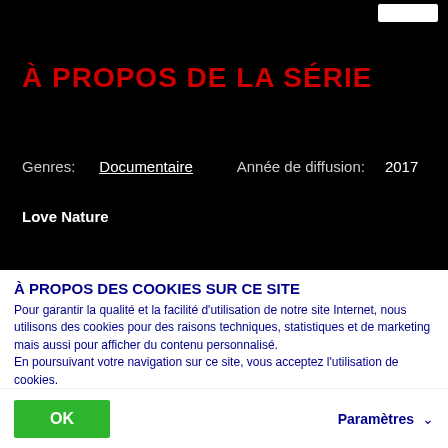À PROPOS DE LA SÉRIE
Genres:   Documentaire   Année de diffusion:   2017
Love Nature
À PROPOS DES COOKIES SUR CE SITE
Pour garantir la qualité et la facilité d'utilisation de notre site Internet, nous utilisons des cookies pour des raisons techniques, statistiques et de marketing mais aussi pour afficher du contenu personnalisé.
En poursuivant votre navigation sur ce site, vous acceptez l'utilisation de cookies.
Les paramètres des cookies peuvent être modifiés en cliquant sur « Paramètres ».
OK
Paramètres ∨